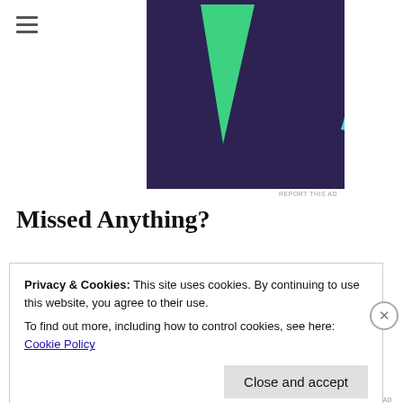[Figure (logo): Hamburger menu icon (three horizontal lines) in top left corner]
[Figure (illustration): Advertisement banner with dark purple background featuring a green triangle shape on the left and a cyan/teal circle arc on the right]
REPORT THIS AD
Missed Anything?
Privacy & Cookies: This site uses cookies. By continuing to use this website, you agree to their use.
To find out more, including how to control cookies, see here: Cookie Policy
Close and accept